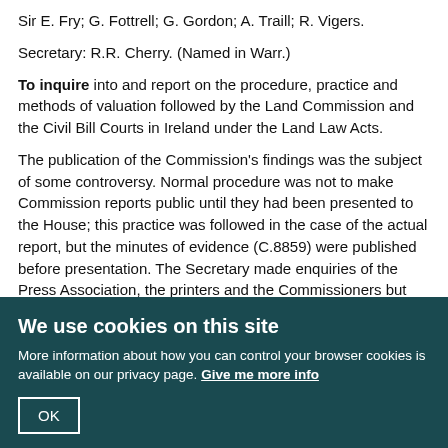Sir E. Fry; G. Fottrell; G. Gordon; A. Traill; R. Vigers.
Secretary: R.R. Cherry. (Named in Warr.)
To inquire into and report on the procedure, practice and methods of valuation followed by the Land Commission and the Civil Bill Courts in Ireland under the Land Law Acts.
The publication of the Commission's findings was the subject of some controversy. Normal procedure was not to make Commission reports public until they had been presented to the House; this practice was followed in the case of the actual report, but the minutes of evidence (C.8859) were published before presentation. The Secretary made enquiries of the Press Association, the printers and the Commissioners but was unable to find out how the press had obtained the documents. His letter to Cunynghame (Assistant Under Secretary at the Home Office) of 12 March 1898 points out that Dr Traill had not answered his queries directly, and refers to correspondence between Traill and the Chairman, the contents of which were never made public. It was thus inferred that Traill was responsible for sending the documents to the Press Association. The Home Office file notes a number of possible sanctions against the Press Association, but recommended no further action unless
We use cookies on this site
More information about how you can control your browser cookies is available on our privacy page. Give me more info
OK